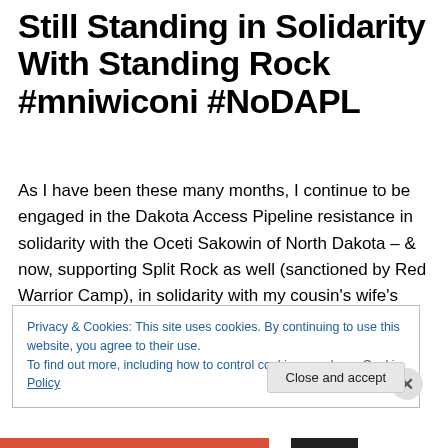Still Standing in Solidarity With Standing Rock #mniwiconi #NoDAPL
As I have been these many months, I continue to be engaged in the Dakota Access Pipeline resistance in solidarity with the Oceti Sakowin of North Dakota – & now, supporting Split Rock as well (sanctioned by Red Warrior Camp), in solidarity with my cousin's wife's people, the Ramapough Lunaape of New Jersey, in order to stop the construction of the Algonquin Pipeline. Due to the
Privacy & Cookies: This site uses cookies. By continuing to use this website, you agree to their use.
To find out more, including how to control cookies, see here: Cookie Policy